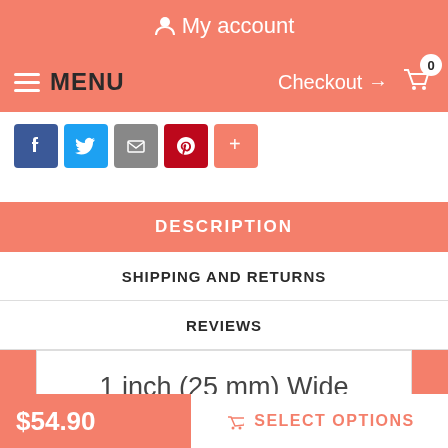My account
MENU  Checkout → 0
[Figure (screenshot): Social sharing buttons: Facebook, Twitter, Email, Pinterest, More (+)]
DESCRIPTION
SHIPPING AND RETURNS
REVIEWS
1 inch (25 mm) Wide Braided Leather Obedience Training Collar For Mastiff
If your dog disobeys and you have no idea how to teach him to...
$54.90
SELECT OPTIONS